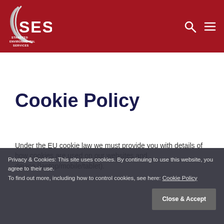[Figure (logo): SES Stansted Environmental Services logo — white arc/swoosh and SES text on dark red background, with 'STANSTED ENVIRONMENTAL SERVICES' text below]
Cookie Policy
Under the EU cookie law we must provide you with details of how cookies are used on our websites and device (laptop/mobile/tablet).
Privacy & Cookies: This site uses cookies. By continuing to use this website, you agree to their use.
To find out more, including how to control cookies, see here: Cookie Policy